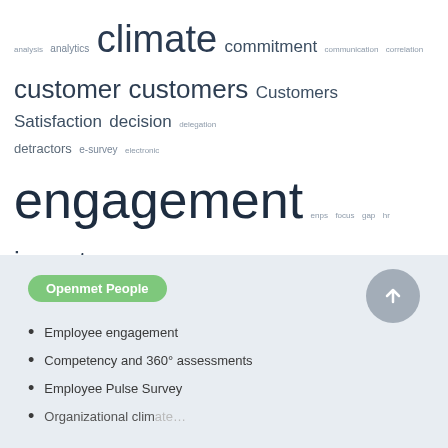[Figure (other): Word cloud with survey/customer satisfaction related terms. Larger words include: climate, engagement, satisfaction, survey, surveys, customer, customers, leadership, promoters, importance. Smaller words include: analysis, analytics, commitment, communication, correlation, Customers, Satisfaction, decision, delegation, detractors, e-survey, electronic, enps, focus, gap, hr, key, leader, loyalty, market, mistake, organizational, people, practices, research, revenue, revenues, samples, servqual, statistics, strategy, tips, tricks, types, weight, weighting.]
[Figure (infographic): Green badge labeled 'Openmet People' with an up-arrow circle button on the right, followed by bullet list: Employee engagement, Competency and 360° assessments, Employee Pulse Survey, Organizational climate (partially visible)]
Employee engagement
Competency and 360° assessments
Employee Pulse Survey